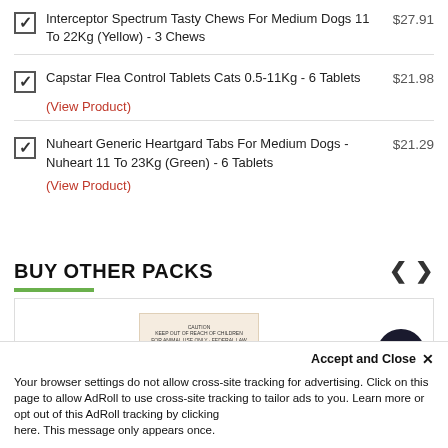Interceptor Spectrum Tasty Chews For Medium Dogs 11 To 22Kg (Yellow) - 3 Chews
Capstar Flea Control Tablets Cats 0.5-11Kg - 6 Tablets
(View Product)
Nuheart Generic Heartgard Tabs For Medium Dogs - Nuheart 11 To 23Kg (Green) - 6 Tablets
(View Product)
BUY OTHER PACKS
[Figure (photo): Interceptor Spectrum product box shown in a carousel/product listing area]
Accept and Close ×
Your browser settings do not allow cross-site tracking for advertising. Click on this page to allow AdRoll to use cross-site tracking to tailor ads to you. Learn more or opt out of this AdRoll tracking by clicking here. This message only appears once.